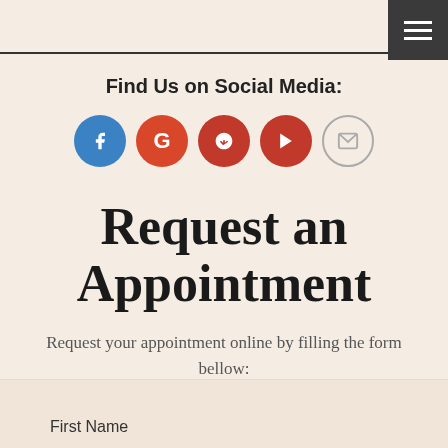Find Us on Social Media:
[Figure (illustration): Social media icons row: Facebook (blue circle with f), Google (red circle with G), Yelp (red circle with flower/scissors icon), YouTube (red circle with play button), Email (light circle with envelope icon)]
Request an Appointment
Request your appointment online by filling the form bellow:
First Name